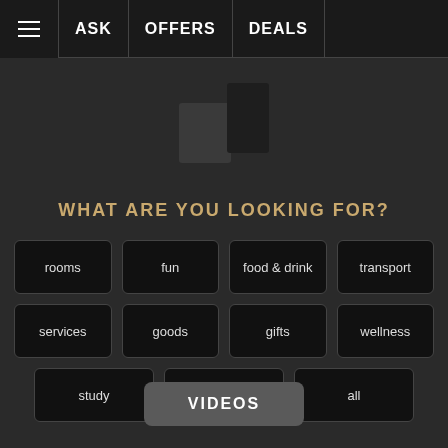ASK  OFFERS  DEALS
[Figure (illustration): App icon or logo graphic showing two overlapping rectangular shapes in dark tones]
WHAT ARE YOU LOOKING FOR?
rooms
fun
food & drink
transport
services
goods
gifts
wellness
study
property
all
VIDEOS